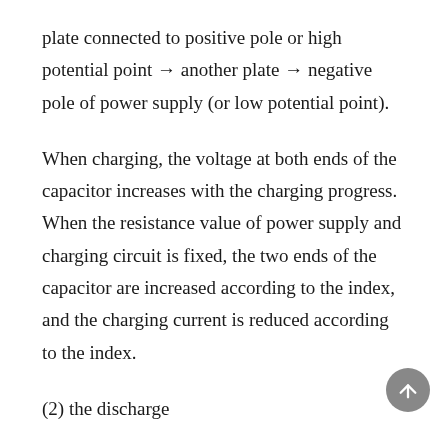plate connected to positive pole or high potential point → another plate → negative pole of power supply (or low potential point).
When charging, the voltage at both ends of the capacitor increases with the charging progress. When the resistance value of power supply and charging circuit is fixed, the two ends of the capacitor are increased according to the index, and the charging current is reduced according to the index.
(2) the discharge
The capacitor will discharge when connected to the load. Discharge direction: capacitor plate with